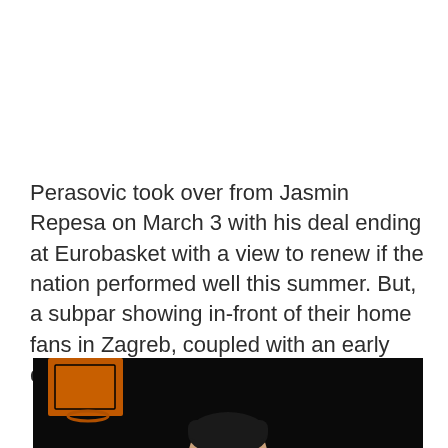Perasovic took over from Jasmin Repesa on March 3 with his deal ending at Eurobasket with a view to renew if the nation performed well this summer. But, a subpar showing in-front of their home fans in Zagreb, coupled with an early exit in Lille was not good enough.
[Figure (photo): Basketball players photographed against a dark background; a player in a white jersey with dark hair puts his hand to his face/head in a gesture of frustration or exhaustion; another player is visible in the background to the right; an orange backboard is visible in the upper left.]